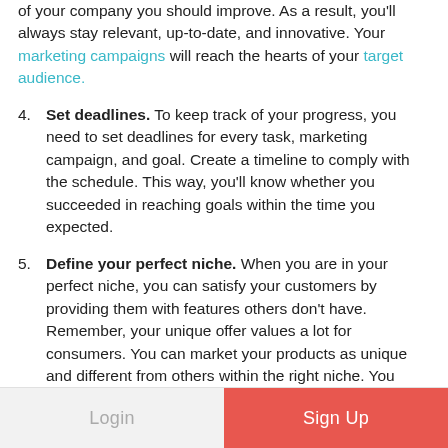of your company you should improve. As a result, you'll always stay relevant, up-to-date, and innovative. Your marketing campaigns will reach the hearts of your target audience.
4. Set deadlines. To keep track of your progress, you need to set deadlines for every task, marketing campaign, and goal. Create a timeline to comply with the schedule. This way, you'll know whether you succeeded in reaching goals within the time you expected.
5. Define your perfect niche. When you are in your perfect niche, you can satisfy your customers by providing them with features others don't have. Remember, your unique offer values a lot for consumers. You can market your products as unique and different from others within the right niche. You